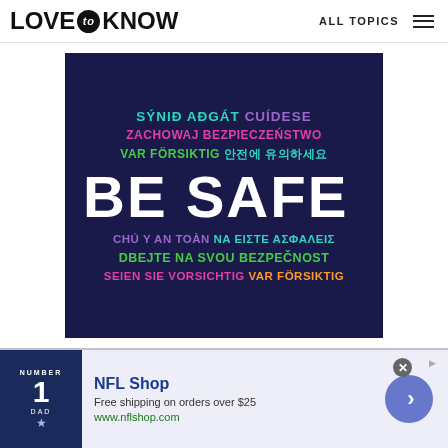LOVE to KNOW — ALL TOPICS
[Figure (infographic): Dark navy blue square with multilingual 'BE SAFE' text. Lines include: SÝNIĎ AÐGÁT (teal) CUÍDESE (purple); ZACHOWAJ BEZPIECZEŃSTWO (pink); VAR FÖRSIKTIG (green) 안전에 유의하세요 (teal); BE SAFE (white, large); CHÚ Ý AN TOÀN (purple) NA EIΣTE AΣΦAΛEIΣ (teal); DBEJTE NA SVOU BEZPEČNOST (green); SEIEN SIE VORSICHTIG (pink) VAR FÖRSIKTIG (orange)]
[Figure (infographic): NFL Shop advertisement banner: product image of a Dallas Cowboys jersey t-shirt on navy background, text reads 'NFL Shop', 'Free shipping on orders over $25', 'www.nflshop.com', with a blue circular arrow button and close button]